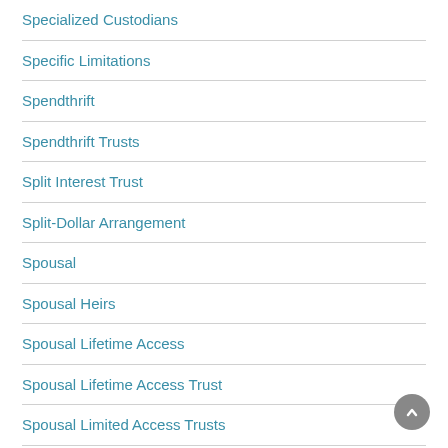Specialized Custodians
Specific Limitations
Spendthrift
Spendthrift Trusts
Split Interest Trust
Split-Dollar Arrangement
Spousal
Spousal Heirs
Spousal Lifetime Access
Spousal Lifetime Access Trust
Spousal Limited Access Trusts
Spouse
Spouses